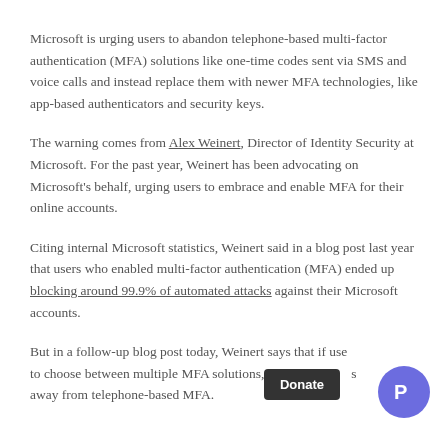Microsoft is urging users to abandon telephone-based multi-factor authentication (MFA) solutions like one-time codes sent via SMS and voice calls and instead replace them with newer MFA technologies, like app-based authenticators and security keys.
The warning comes from Alex Weinert, Director of Identity Security at Microsoft. For the past year, Weinert has been advocating on Microsoft's behalf, urging users to embrace and enable MFA for their online accounts.
Citing internal Microsoft statistics, Weinert said in a blog post last year that users who enabled multi-factor authentication (MFA) ended up blocking around 99.9% of automated attacks against their Microsoft accounts.
But in a follow-up blog post today, Weinert says that if users have to choose between multiple MFA solutions, they should steer away from telephone-based MFA.